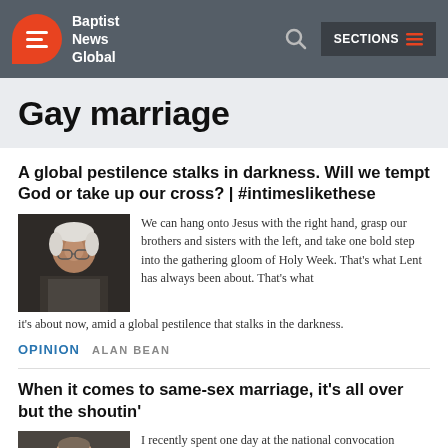Baptist News Global
Gay marriage
A global pestilence stalks in darkness. Will we tempt God or take up our cross? | #intimeslikethese
[Figure (photo): Headshot of a man with glasses and white hair]
We can hang onto Jesus with the right hand, grasp our brothers and sisters with the left, and take one bold step into the gathering gloom of Holy Week. That’s what Lent has always been about. That’s what it’s about now, amid a global pestilence that stalks in the darkness.
OPINION  ALAN BEAN
When it comes to same-sex marriage, it’s all over but the shoutin’
[Figure (photo): Partial headshot of a person]
I recently spent one day at the national convocation